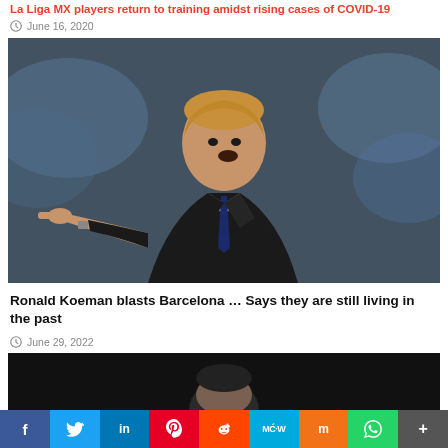La Liga MX players return to training amidst rising cases of COVID-19
June 16, 2020
[Figure (photo): A man in a dark suit pointing forcefully, coaching on a soccer sideline, crowd blurred in background]
Ronald Koeman blasts Barcelona … Says they are still living in the past
June 29, 2022
[Figure (photo): Partial view of a man's head against a dark background]
f  Twitter  in  Pinterest  Reddit  MW  Mix  WhatsApp  More